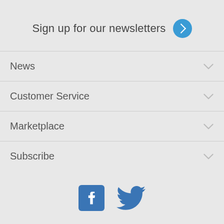Sign up for our newsletters →
News
Customer Service
Marketplace
Subscribe
[Figure (illustration): Facebook and Twitter social media icons in blue]
© 2021 Dayton Daily News. All Rights Reserved. By using this website, you